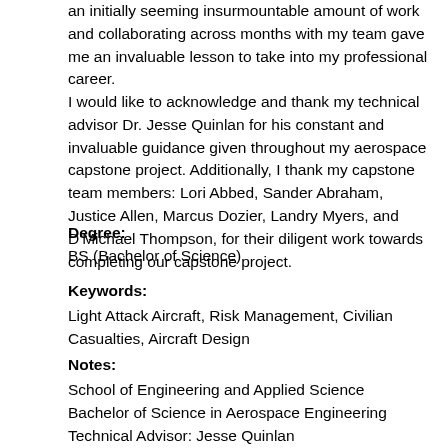an initially seeming insurmountable amount of work and collaborating across months with my team gave me an invaluable lesson to take into my professional career. I would like to acknowledge and thank my technical advisor Dr. Jesse Quinlan for his constant and invaluable guidance given throughout my aerospace capstone project. Additionally, I thank my capstone team members: Lori Abbed, Sander Abraham, Justice Allen, Marcus Dozier, Landry Myers, and D'Michael Thompson, for their diligent work towards completing our capstone project.
Degree:
BS (Bachelor of Science)
Keywords:
Light Attack Aircraft, Risk Management, Civilian Casualties, Aircraft Design
Notes:
School of Engineering and Applied Science
Bachelor of Science in Aerospace Engineering
Technical Advisor: Jesse Quinlan
STS Advisor: Kathryn Neeley